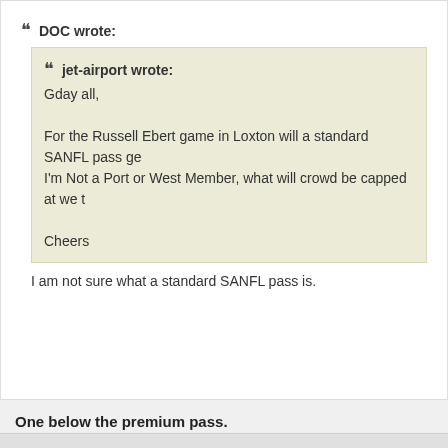““ DOC wrote:
““ jet-airport wrote:
Gday all,

For the Russell Ebert game in Loxton will a standard SANFL pass ge
I'm Not a Port or West Member, what will crowd be capped at we t

Cheers
I am not sure what a standard SANFL pass is.
One below the premium pass.
2017 safooty NFL tipping champ
Don’t lose your grip on the dreams of the past
You must fight just to keep them alive...